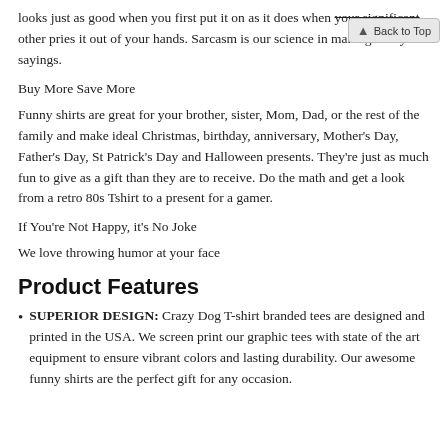looks just as good when you first put it on as it does when your significant other pries it out of your hands. Sarcasm is our science in making funny sayings.
Buy More Save More
Funny shirts are great for your brother, sister, Mom, Dad, or the rest of the family and make ideal Christmas, birthday, anniversary, Mother's Day, Father's Day, St Patrick's Day and Halloween presents. They're just as much fun to give as a gift than they are to receive. Do the math and get a look from a retro 80s Tshirt to a present for a gamer.
If You're Not Happy, it's No Joke
We love throwing humor at your face
Product Features
SUPERIOR DESIGN: Crazy Dog T-shirt branded tees are designed and printed in the USA. We screen print our graphic tees with state of the art equipment to ensure vibrant colors and lasting durability. Our awesome funny shirts are the perfect gift for any occasion.